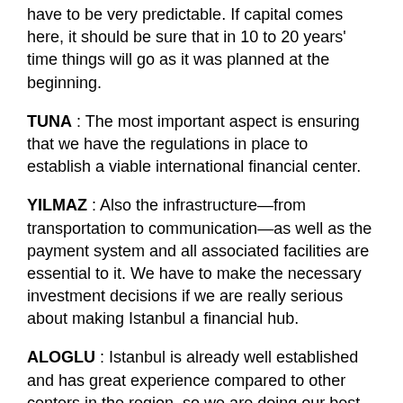have to be very predictable. If capital comes here, it should be sure that in 10 to 20 years' time things will go as it was planned at the beginning.
TUNA : The most important aspect is ensuring that we have the regulations in place to establish a viable international financial center.
YILMAZ : Also the infrastructure—from transportation to communication—as well as the payment system and all associated facilities are essential to it. We have to make the necessary investment decisions if we are really serious about making Istanbul a financial hub.
ALOGLU : Istanbul is already well established and has great experience compared to other centers in the region, so we are doing our best to ensure it is the regional financial hub. Turkey is one of the biggest players in the world in terms of gold and jewelry trade. Now we are trying to set up what will become the region's biggest diamond market. It is the same in other sectors. We are trying to do our best in all sectors to